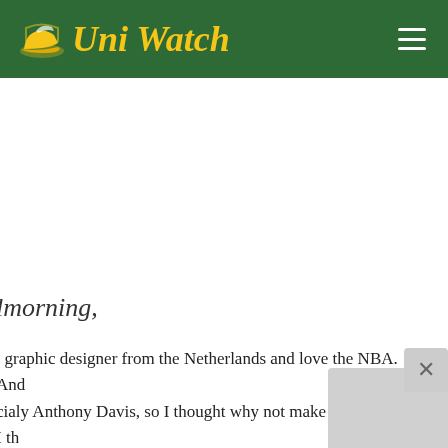Uni Watch
lmorning,
. graphic designer from the Netherlands and love the NBA. And cialy Anthony Davis, so I thought why not make him a logo! I th the frontrunner for MIP this year with his amazing stats!
lea is on my portfolio on Behance.